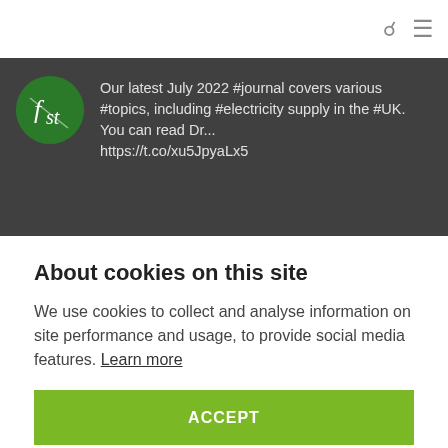Search and menu icons
[Figure (logo): FST circular green logo]
Our latest July 2022 #journal covers various #topics, including #electricity supply in the #UK. You can read Dr... https://t.co/xu5JpyaLx5
About cookies on this site
We use cookies to collect and analyse information on site performance and usage, to provide social media features. Learn more
ACCEPT
COOKIE PREFERENCES